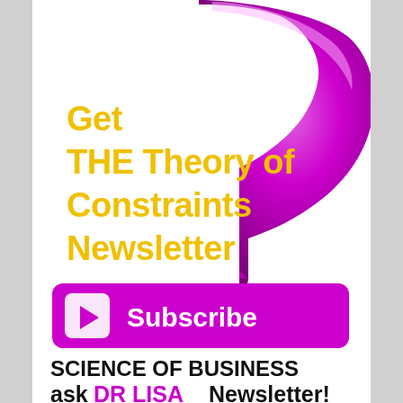[Figure (illustration): Newsletter subscription advertisement. A large purple/magenta 3D arrow curling downward on the right side. On the white left portion, bold yellow text reads 'Get THE Theory of Constraints Newsletter'. Below is a magenta rounded rectangle Subscribe button with a white play button icon on the left and white text 'Subscribe'. At the bottom, black bold text reads 'SCIENCE OF BUSINESS' and below that 'ask DR LISA Newsletter!' where 'DR LISA' is in magenta/purple color.]